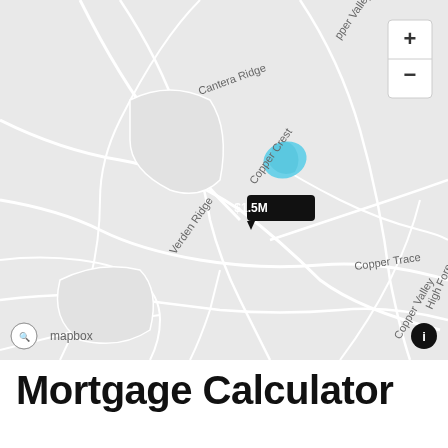[Figure (map): Mapbox street map showing a residential area with street labels including Cantera Ridge, Copper Crest, Verden Ridge, Copper Trace, Copper Valley, High Forest Dr, and upper Valley. A black price marker labeled '$1.5M' is pinned at a central location. A small blue water feature is visible. Zoom controls (+/-) appear in the upper right. Mapbox logo and info button appear at the bottom.]
Mortgage Calculator